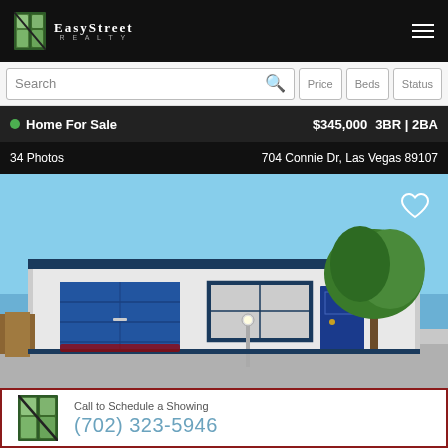EasyStreet Realty
Search | Price | Beds | Status
Home For Sale  $345,000  3BR | 2BA
34 Photos  704 Connie Dr, Las Vegas 89107
[Figure (photo): Exterior photo of a single-story home with blue garage door, blue front door, white walls, and a large tree in the front yard. Blue sky background.]
Call to Schedule a Showing
(702) 323-5946